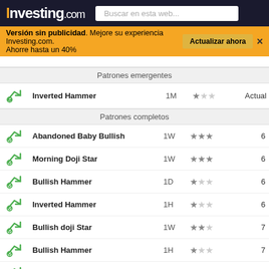Investing.com — Buscar en esta web...
Versión sin publicidad. Mejore su experiencia Investing.com. Ahorre hasta un 40% — Actualizar ahora
|  | Patrón | TF | Fiabilidad | Velas |
| --- | --- | --- | --- | --- |
| ↗✓ | Inverted Hammer | 1M | ★☆☆ | Actual |
| ↗✓ | Abandoned Baby Bullish | 1W | ★★★ | 6 |
| ↗✓ | Morning Doji Star | 1W | ★★★ | 6 |
| ↗✓ | Bullish Hammer | 1D | ★☆☆ | 6 |
| ↗✓ | Inverted Hammer | 1H | ★☆☆ | 6 |
| ↗✓ | Bullish doji Star | 1W | ★★☆ | 7 |
| ↗✓ | Bullish Hammer | 1H | ★☆☆ | 7 |
| ↗✓ | Inverted Hammer | 30 | ★☆☆ | 8 |
| ↗✓ | Inverted Hammer | 1W | ★☆☆ | 10 |
| ↗✓ | Inverted Hammer | 5H | ★☆☆ | 10 |
| ↗✓ | Harami Bullish | 30 | ★☆☆ | 10 |
| ↗✓ | Harami Cross | 30 | ★☆☆ | 10 |
| ↗✓ | Harami Bullish | 1M | ★☆☆ | 11 |